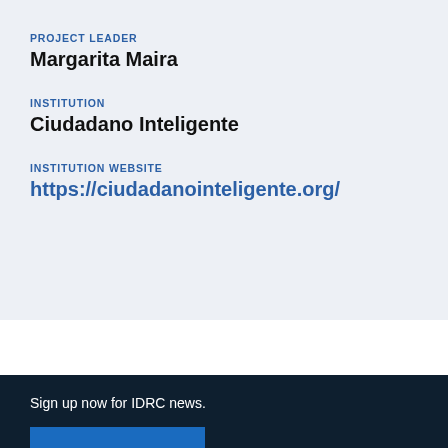PROJECT LEADER
Margarita Maira
INSTITUTION
Ciudadano Inteligente
INSTITUTION WEBSITE
https://ciudadanointeligente.org/
Sign up now for IDRC news.
Subscribe ›